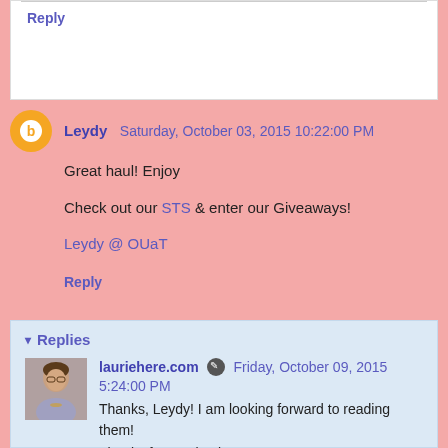Reply
Leydy  Saturday, October 03, 2015 10:22:00 PM
Great haul! Enjoy
Check out our STS & enter our Giveaways!
Leydy @ OUaT
Reply
Replies
lauriehere.com  Friday, October 09, 2015 5:24:00 PM
Thanks, Leydy! I am looking forward to reading them!
Thanks for coming by!
Laurie